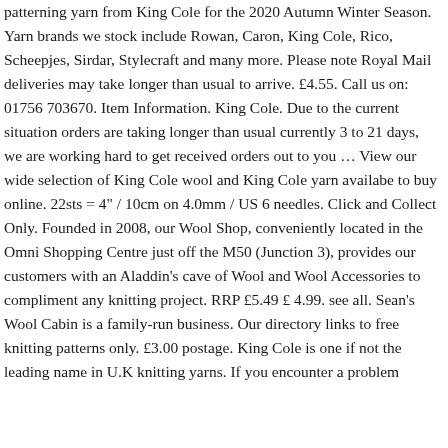patterning yarn from King Cole for the 2020 Autumn Winter Season. Yarn brands we stock include Rowan, Caron, King Cole, Rico, Scheepjes, Sirdar, Stylecraft and many more. Please note Royal Mail deliveries may take longer than usual to arrive. £4.55. Call us on: 01756 703670. Item Information. King Cole. Due to the current situation orders are taking longer than usual currently 3 to 21 days, we are working hard to get received orders out to you … View our wide selection of King Cole wool and King Cole yarn availabe to buy online. 22sts = 4" / 10cm on 4.0mm / US 6 needles. Click and Collect Only. Founded in 2008, our Wool Shop, conveniently located in the Omni Shopping Centre just off the M50 (Junction 3), provides our customers with an Aladdin's cave of Wool and Wool Accessories to compliment any knitting project. RRP £5.49 £ 4.99. see all. Sean's Wool Cabin is a family-run business. Our directory links to free knitting patterns only. £3.00 postage. King Cole is one if not the leading name in U.K knitting yarns. If you encounter a problem